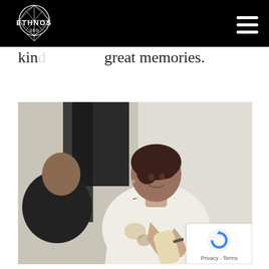ETHNOS 360
kind great memories.
[Figure (photo): A woman in a white embroidered sweater holding a gift, smiling, with a man in black behind her, indoor party setting]
Privacy · Terms